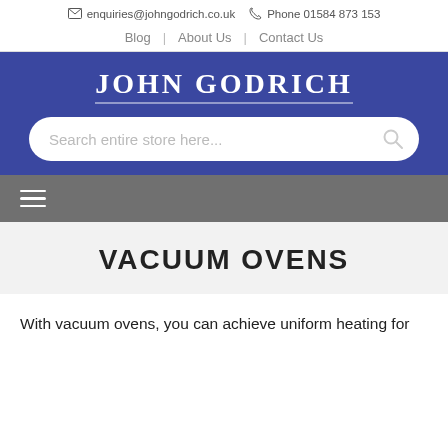enquiries@johngodrich.co.uk  Phone 01584 873 153
Blog | About Us | Contact Us
[Figure (logo): John Godrich logo with search bar on blue background and hamburger menu on gray bar]
VACUUM OVENS
With vacuum ovens, you can achieve uniform heating for